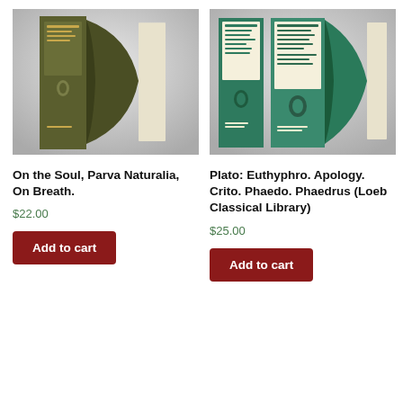[Figure (photo): Photo of a dark olive/green hardcover book spine and cover — Aristotle, On the Soul, Parva Naturalia, On Breath]
[Figure (photo): Photo of two green Loeb Classical Library volumes showing Plato: Euthyphro, Apology, Crito, Phaedo, Phaedrus]
On the Soul, Parva Naturalia, On Breath.
$22.00
Add to cart
Plato: Euthyphro. Apology. Crito. Phaedo. Phaedrus (Loeb Classical Library)
$25.00
Add to cart